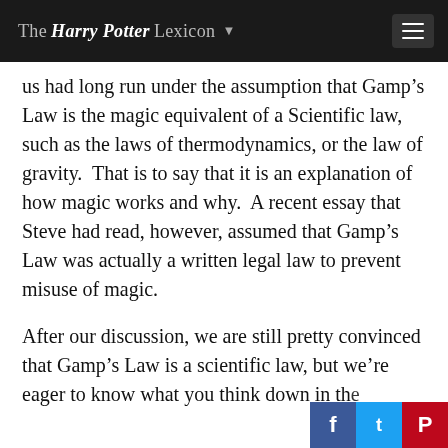The Harry Potter Lexicon
us had long run under the assumption that Gamp’s Law is the magic equivalent of a Scientific law, such as the laws of thermodynamics, or the law of gravity.  That is to say that it is an explanation of how magic works and why.  A recent essay that Steve had read, however, assumed that Gamp’s Law was actually a written legal law to prevent misuse of magic.
After our discussion, we are still pretty convinced that Gamp’s Law is a scientific law, but we’re eager to know what you think down in the